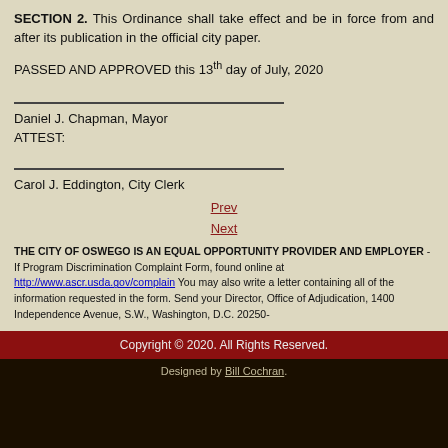SECTION 2. This Ordinance shall take effect and be in force from and after its publication in the official city paper.
PASSED AND APPROVED this 13th day of July, 2020
Daniel J. Chapman, Mayor
ATTEST:
Carol J. Eddington, City Clerk
Prev
Next
THE CITY OF OSWEGO IS AN EQUAL OPPORTUNITY PROVIDER AND EMPLOYER - If Program Discrimination Complaint Form, found online at http://www.ascr.usda.gov/complaint You may also write a letter containing all of the information requested in the form. Send your Director, Office of Adjudication, 1400 Independence Avenue, S.W., Washington, D.C. 20250-
Copyright © 2020. All Rights Reserved.
Designed by Bill Cochran.